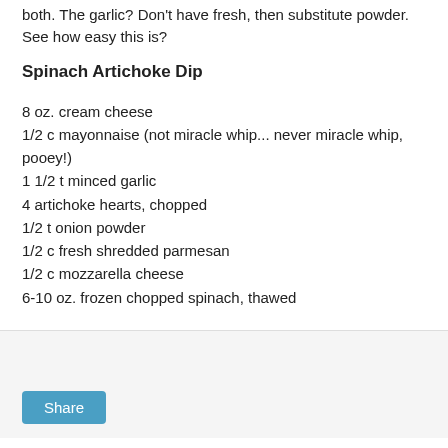both. The garlic? Don't have fresh, then substitute powder. See how easy this is?
Spinach Artichoke Dip
8 oz. cream cheese
1/2 c mayonnaise (not miracle whip... never miracle whip, pooey!)
1 1/2 t minced garlic
4 artichoke hearts, chopped
1/2 t onion powder
1/2 c fresh shredded parmesan
1/2 c mozzarella cheese
6-10 oz. frozen chopped spinach, thawed
Heat through, stir smooth. Serve with thick tortilla chips, or pita chips.
[Figure (other): Share button area with light gray background and a blue Share button]